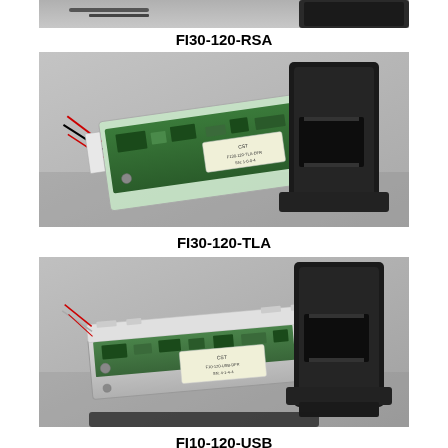[Figure (photo): Partial top view of FI30-120-RSA fingerprint scanner module with black housing, cropped at top of page]
FI30-120-RSA
[Figure (photo): FI30-120-TLA fingerprint scanner module showing green circuit board with red/black wires and black mounting bracket]
FI30-120-TLA
[Figure (photo): FI10-120-USB fingerprint scanner module showing silver/gray metal housing with green circuit board and black mounting bracket]
FI10-120-USB